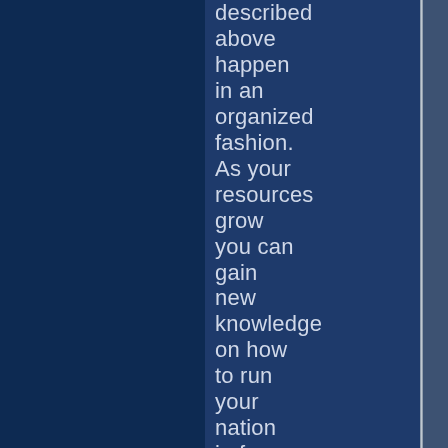described above happen in an organized fashion. As your resources grow you can gain new knowledge on how to run your nation in four distinct areas: militarily, civically, commercially, and scientifically.